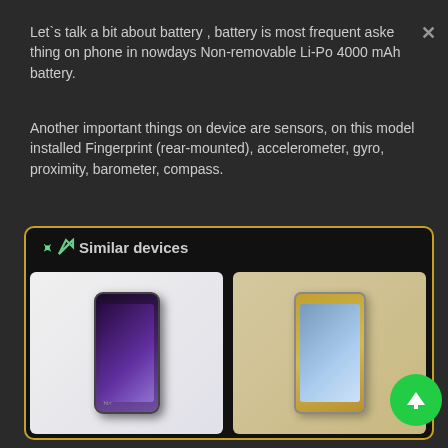Let`s talk a bit about battery , battery is most frequent asked thing on phone in nowdays Non-removable Li-Po 4000 mAh battery.
Another important things on device are sensors, on this model installed Fingerprint (rear-mounted), accelerometer, gyro, proximity, barometer, compass.
Similar devices
[Figure (photo): Two smartphone device cards shown side by side: left card shows an HTC phone with dark purple gradient screen, right card shows a gold-colored phone.]